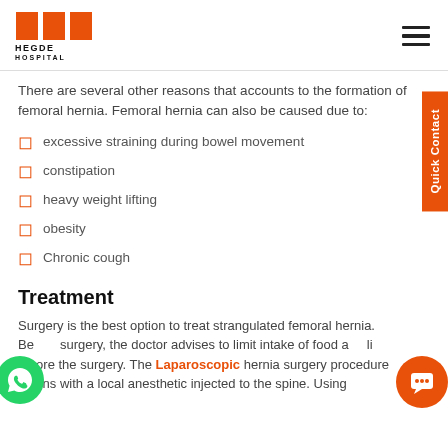[Figure (logo): Hegde Hospital logo with orange HH icon and text 'HEGDE HOSPITAL SINCE 1977']
There are several other reasons that accounts to the formation of femoral hernia. Femoral hernia can also be caused due to:
excessive straining during bowel movement
constipation
heavy weight lifting
obesity
Chronic cough
Treatment
Surgery is the best option to treat strangulated femoral hernia. Before surgery, the doctor advises to limit intake of food and liquids before the surgery. The Laparoscopic hernia surgery procedure begins with a local anesthetic injected to the spine. Using